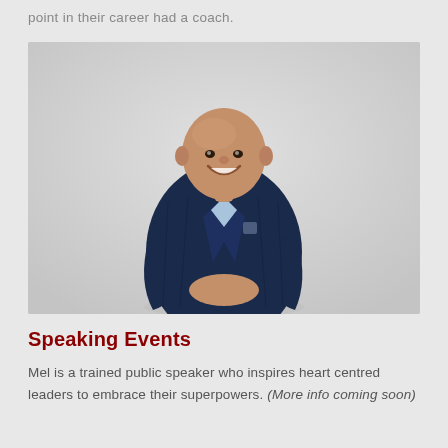point in their career had a coach.
[Figure (photo): Professional headshot of a bald smiling man wearing a dark navy plaid blazer over a light blue shirt, standing against a light grey background with arms crossed/clasped in front.]
Speaking Events
Mel is a trained public speaker who inspires heart centred leaders to embrace their superpowers. (More info coming soon)